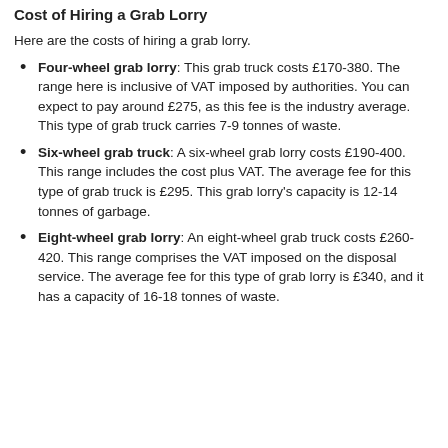Cost of Hiring a Grab Lorry
Here are the costs of hiring a grab lorry.
Four-wheel grab lorry: This grab truck costs £170-380. The range here is inclusive of VAT imposed by authorities. You can expect to pay around £275, as this fee is the industry average. This type of grab truck carries 7-9 tonnes of waste.
Six-wheel grab truck: A six-wheel grab lorry costs £190-400. This range includes the cost plus VAT. The average fee for this type of grab truck is £295. This grab lorry's capacity is 12-14 tonnes of garbage.
Eight-wheel grab lorry: An eight-wheel grab truck costs £260-420. This range comprises the VAT imposed on the disposal service. The average fee for this type of grab lorry is £340, and it has a capacity of 16-18 tonnes of waste.